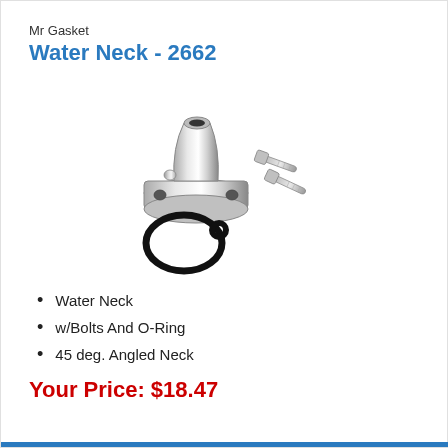Mr Gasket
Water Neck - 2662
[Figure (photo): Chrome water neck fitting with bolts and O-ring. The water neck is a polished chrome 45-degree angled neck with a flat mounting flange. Below it is a black rubber O-ring and two stainless steel bolts.]
Water Neck
w/Bolts And O-Ring
45 deg. Angled Neck
Your Price: $18.47